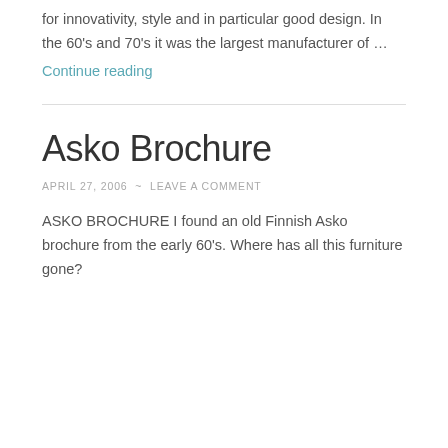for innovativity, style and in particular good design. In the 60's and 70's it was the largest manufacturer of …
Continue reading
Asko Brochure
APRIL 27, 2006 ~ LEAVE A COMMENT
ASKO BROCHURE I found an old Finnish Asko brochure from the early 60's. Where has all this furniture gone?